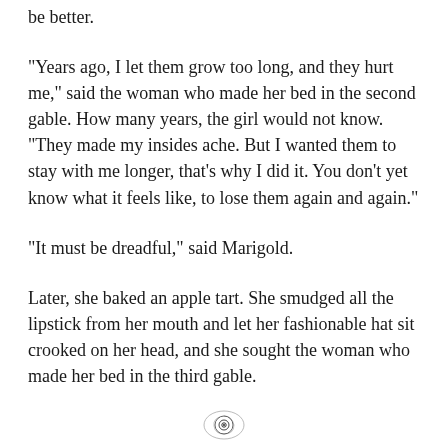be better.
“Years ago, I let them grow too long, and they hurt me,” said the woman who made her bed in the second gable. How many years, the girl would not know. “They made my insides ache. But I wanted them to stay with me longer, that’s why I did it. You don’t yet know what it feels like, to lose them again and again.”
“It must be dreadful,” said Marigold.
Later, she baked an apple tart. She smudged all the lipstick from her mouth and let her fashionable hat sit crooked on her head, and she sought the woman who made her bed in the third gable.
[Figure (illustration): Small decorative circular ornament/divider illustration resembling a snail or spiral shell motif]
The women who lived in the four-gabled house found each